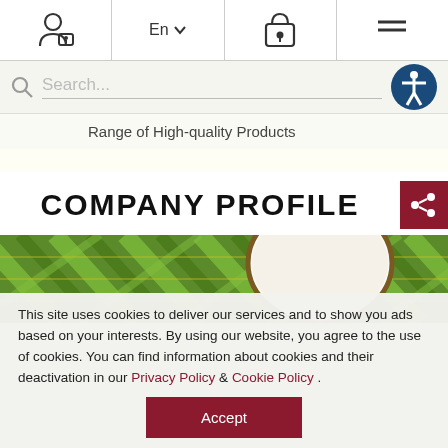[Figure (screenshot): Navigation bar with user/lock icon, En language selector with dropdown, lock/security icon, and hamburger menu icon]
[Figure (screenshot): Search bar with magnifying glass icon, placeholder text 'Search...', and blue accessibility icon button on right]
Range of High-quality Products
COMPANY PROFILE
[Figure (photo): Green woven palm leaf background with a coconut cut in half showing white flesh]
This site uses cookies to deliver our services and to show you ads based on your interests. By using our website, you agree to the use of cookies. You can find information about cookies and their deactivation in our Privacy Policy & Cookie Policy .
Accept